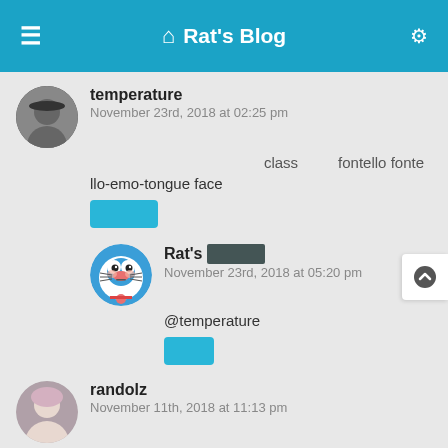Rat's Blog
temperature
November 23rd, 2018 at 02:25 pm
class    fontello fonte
llo-emo-tongue face
Rat's [redacted]
November 23rd, 2018 at 05:20 pm
@temperature
randolz
November 11th, 2018 at 11:13 pm
Zero
CND